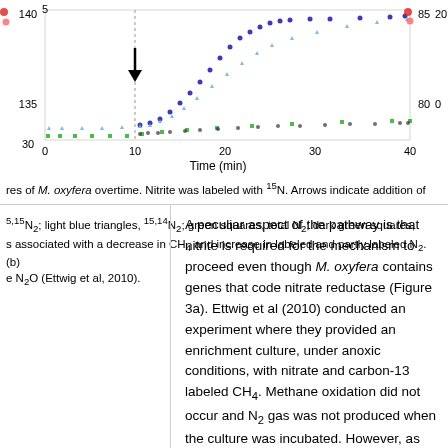[Figure (continuous-plot): Time series scatter plot showing gas measurements over time (min). Y-axes show values 135-140 on left and 80-85 on right with 0-20 scale. X-axis shows 0-40 min with arrow annotation around 10 min. Multiple data series shown as colored points: dark blue, light blue triangles, green squares, dark points.]
res of M. oxyfera overtime. Nitrite was labeled with 15N. Arrows indicate addition of 5,15N2; light blue triangles, 15,14N2; green squares, total N2; dark green squares, s associated with a decrease in CH4 and increase in labeled and partly labeled N2. (b) e N2O (Ettwig et al, 2010).
A peculiar aspect of the pathway is that nitrite is required for the mechanism to proceed even though M. oxyfera contains genes that code nitrate reductase (Figure 3a). Ettwig et al (2010) conducted an experiment where they provided an enrichment culture, under anoxic conditions, with nitrate and carbon-13 labeled CH4. Methane oxidation did not occur and N2 gas was not produced when the culture was incubated. However, as soon as nitrogen-15 labeled nitrite was added, methane oxidation commenced and labeled N2 gas was formed in stoichiometric quantities, indicating that N2 was produced solely from the added nitrite (Figure